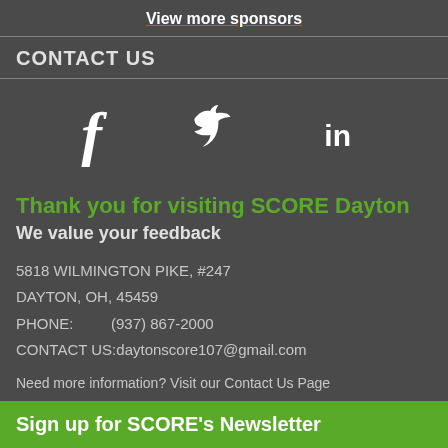View more sponsors
CONTACT US
[Figure (infographic): Three social media icons: Facebook (f), Twitter (bird), LinkedIn (in)]
Thank you for visiting SCORE Dayton
We value your feedback
5818 WILMINGTON PIKE, #247
DAYTON, OH, 45459
PHONE:          (937) 867-2000
CONTACT US:daytonscore107@gmail.com
Need more information? Visit our Contact Us Page
Sign up for SCORE's Newsletter